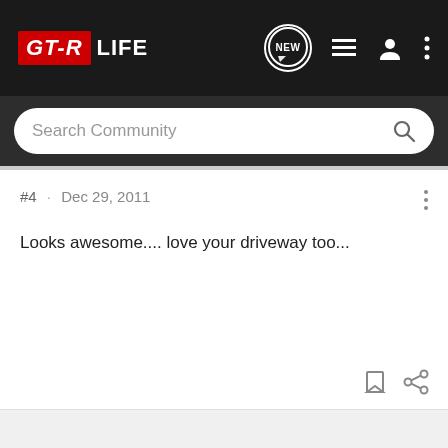GT-R LIFE
Search Community
#4 · Dec 29, 2011
Looks awesome.... love your driveway too...